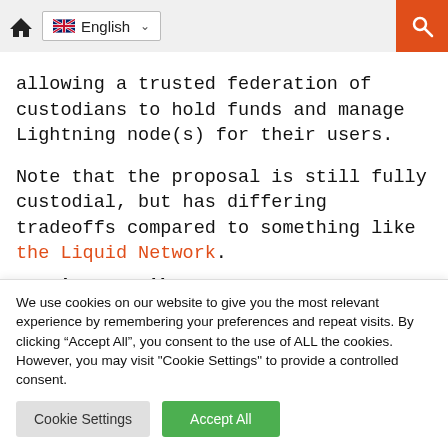English
allowing a trusted federation of custodians to hold funds and manage Lightning node(s) for their users.
Note that the proposal is still fully custodial, but has differing tradeoffs compared to something like the Liquid Network.
Further Reading:
FediMint website
We use cookies on our website to give you the most relevant experience by remembering your preferences and repeat visits. By clicking “Accept All”, you consent to the use of ALL the cookies. However, you may visit "Cookie Settings" to provide a controlled consent.